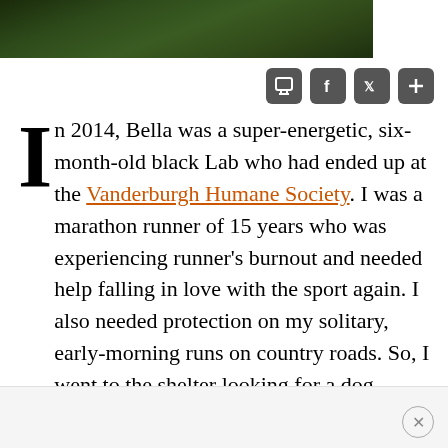[Figure (photo): Partial photo of a dog or animal on grass, dark green background visible at top of page]
[Figure (infographic): Row of four social sharing icon buttons: print, Facebook, Twitter, and plus/add]
In 2014, Bella was a super-energetic, six-month-old black Lab who had ended up at the Vanderburgh Humane Society. I was a marathon runner of 15 years who was experiencing runner's burnout and needed help falling in love with the sport again. I also needed protection on my solitary, early-morning runs on country roads. So, I went to the shelter looking for a dog.